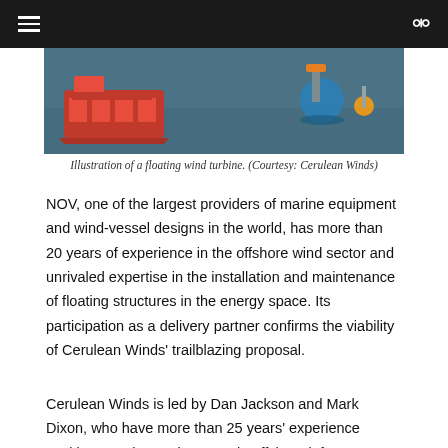[Figure (photo): Illustration of floating wind turbine vessels on water, showing a red vessel on the left and a smaller vessel with yellow element on the right, on a dark blue-grey ocean background.]
Illustration of a floating wind turbine. (Courtesy: Cerulean Winds)
NOV, one of the largest providers of marine equipment and wind-vessel designs in the world, has more than 20 years of experience in the offshore wind sector and unrivaled expertise in the installation and maintenance of floating structures in the energy space. Its participation as a delivery partner confirms the viability of Cerulean Winds' trailblazing proposal.
Cerulean Winds is led by Dan Jackson and Mark Dixon, who have more than 25 years' experience working together on large-scale offshore infrastructure developments in the oil